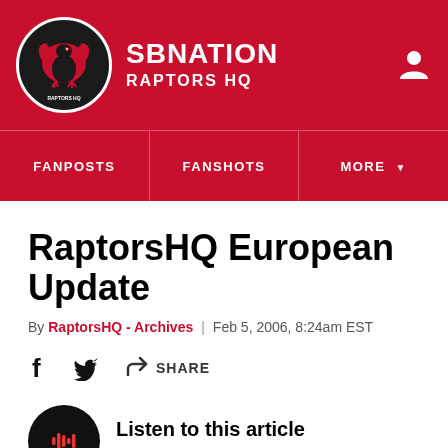SBNation - Raptors HQ
RaptorsHQ European Update
By RaptorsHQ - Archives | Feb 5, 2006, 8:24am EST
Share
Listen to this article